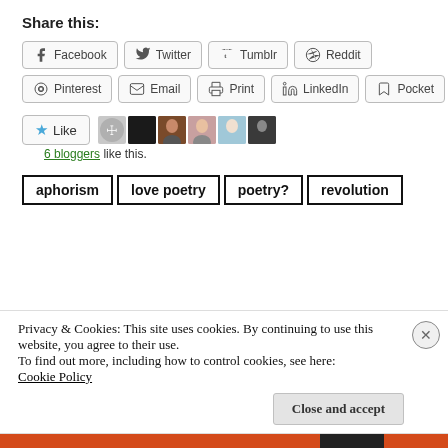Share this:
Facebook  Twitter  Tumblr  Reddit
Pinterest  Email  Print  LinkedIn  Pocket
Like  [6 avatars]  6 bloggers like this.
aphorism  love poetry  poetry?  revolution
Privacy & Cookies: This site uses cookies. By continuing to use this website, you agree to their use.
To find out more, including how to control cookies, see here: Cookie Policy
Close and accept